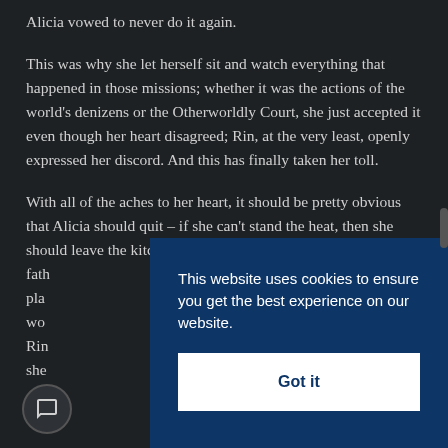Alicia vowed to never do it again.
This was why she let herself sit and watch everything that happened in those missions; whether it was the actions of the world’s denizens or the Otherworldly Court, she just accepted it even though her heart disagreed; Rin, at the very least, openly expressed her discord. And this has finally taken her toll.
With all of the aches to her heart, it should be pretty obvious that Alicia should quit – if she can’t stand the heat, then she should leave the kitchen. Furthermore, her fath... pla... wo... Rin... she... But...
This website uses cookies to ensure you get the best experience on our website.
Got it